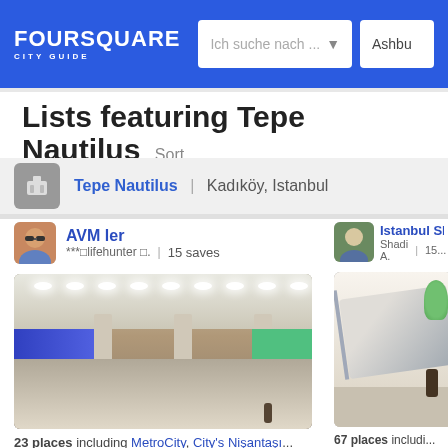Foursquare City Guide | Search: Ich suche nach ... | Location: Ashbu
Lists featuring Tepe Nautilus
Sort
Tepe Nautilus | Kadıköy, Istanbul
AVM ler
***□lifehunter □. | 15 saves
[Figure (photo): Interior of a shopping mall showing ceiling lights, escalators, storefronts, and shoppers]
23 places including MetroCity, City's Nişantaşı...
Istanbul Sh
Shadi A. | 15...
[Figure (photo): Interior of a shopping mall showing escalators, glass railings, and multiple floors]
67 places includi...